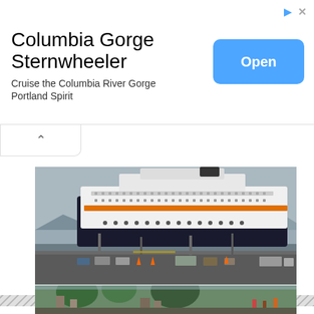[Figure (infographic): Advertisement banner for Columbia Gorge Sternwheeler with Open button]
Columbia Gorge Sternwheeler
Cruise the Columbia River Gorge Portland Spirit
[Figure (photo): Large cruise ship docked at a port with vehicles and equipment on the dock, overcast sky]
NORWEGIAN SKY TO HAVANA CUBA!
[Figure (photo): Street scene with trees and buildings, partial view at bottom of page]